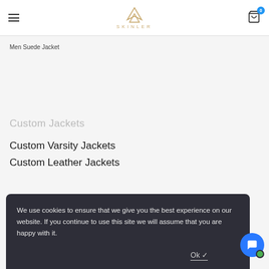SKINLER
Men Suede Jacket
Custom Jackets
Custom Varsity Jackets
Custom Leather Jackets
We use cookies to ensure that we give you the best experience on our website. If you continue to use this site we will assume that you are happy with it.
Ok ✓